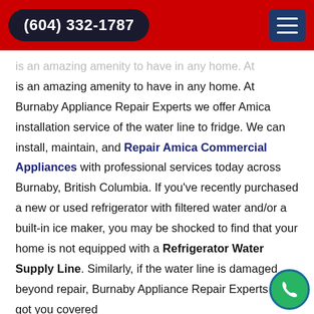(604) 332-1787
is an amazing amenity to have in any home. At Burnaby Appliance Repair Experts we offer Amica installation service of the water line to fridge. We can install, maintain, and Repair Amica Commercial Appliances with professional services today across Burnaby, British Columbia. If you've recently purchased a new or used refrigerator with filtered water and/or a built-in ice maker, you may be shocked to find that your home is not equipped with a Refrigerator Water Supply Line. Similarly, if the water line is damaged beyond repair, Burnaby Appliance Repair Experts has got you covered